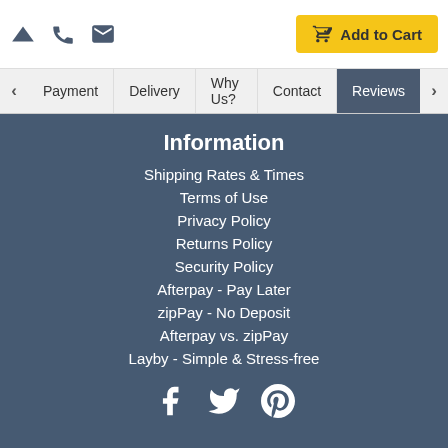Add to Cart
Payment | Delivery | Why Us? | Contact | Reviews
Information
Shipping Rates & Times
Terms of Use
Privacy Policy
Returns Policy
Security Policy
Afterpay - Pay Later
zipPay - No Deposit
Afterpay vs. zipPay
Layby - Simple & Stress-free
[Figure (infographic): Social media icons: Facebook, Twitter, Pinterest]